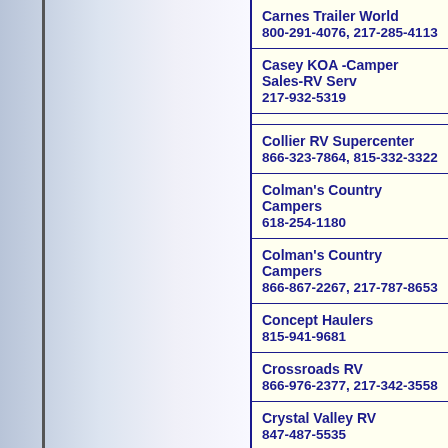Carnes Trailer World
800-291-4076, 217-285-4113
Casey KOA -Camper Sales-RV Serv
217-932-5319
Collier RV Supercenter
866-323-7864, 815-332-3322
Colman's Country Campers
618-254-1180
Colman's Country Campers
866-867-2267, 217-787-8653
Concept Haulers
815-941-9681
Crossroads RV
866-976-2377, 217-342-3558
Crystal Valley RV
847-487-5535
Cummins MidStates Power Inc
800-759-4355, 309-452-4454
Dennis Auto Sales
618-475-3115